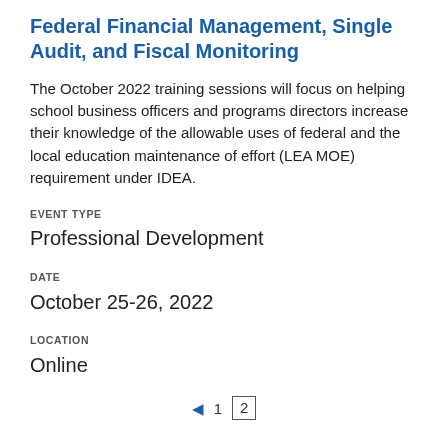Federal Financial Management, Single Audit, and Fiscal Monitoring
The October 2022 training sessions will focus on helping school business officers and programs directors increase their knowledge of the allowable uses of federal and the local education maintenance of effort (LEA MOE) requirement under IDEA.
EVENT TYPE
Professional Development
DATE
October 25-26, 2022
LOCATION
Online